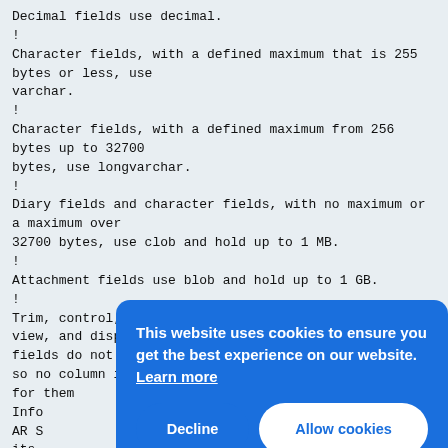Decimal fields use decimal.
!
Character fields, with a defined maximum that is 255 bytes or less, use varchar.
!
Character fields, with a defined maximum from 256 bytes up to 32700 bytes, use longvarchar.
!
Diary fields and character fields, with no maximum or a maximum over 32700 bytes, use clob and hold up to 1 MB.
!
Attachment fields use blob and hold up to 1 GB.
!
Trim, control, table, column, page holder, page, view, and display-only fields do not require any storage in the data tables, so no column is created for them
Info AR S its varc data
!
Inte
!
Real
!
Character fields, with a defined maximum that is 255 bytes...
[Figure (screenshot): Cookie consent banner overlay with blue background. Text: 'This website uses cookies to ensure you get the best experience on our website. Learn more'. Two buttons: 'Decline' (white text on blue) and 'Allow cookies' (blue text on white).]